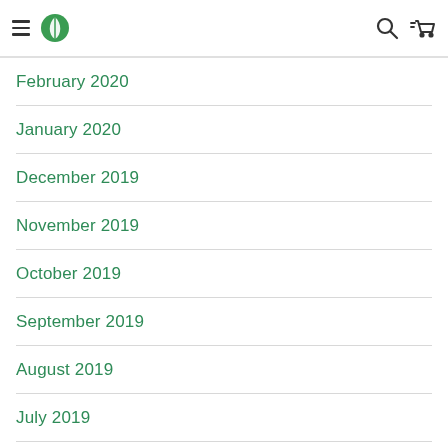Navigation header with hamburger menu, leaf logo, search and cart icons
February 2020
January 2020
December 2019
November 2019
October 2019
September 2019
August 2019
July 2019
June 2019